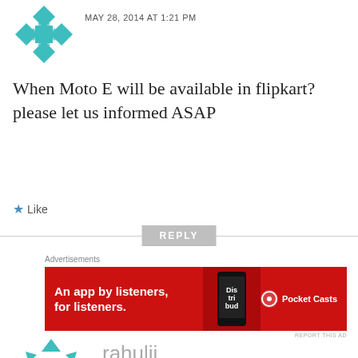[Figure (illustration): Teal geometric/snowflake avatar icon]
MAY 28, 2014 AT 1:21 PM
When Moto E will be available in flipkart? please let us informed ASAP
★ Like
REPLY
Advertisements
[Figure (screenshot): Red advertisement banner: An app by listeners, for listeners. Pocket Casts]
REPORT THIS AD
[Figure (illustration): Teal geometric avatar with central square]
rahulji
MAY 30, 2014 AT 1:01 PM
its available now, i bought it